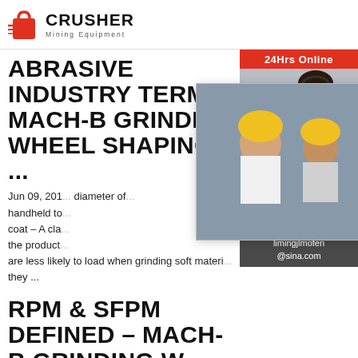CRUSHER Mining Equipment
ABRASIVE INDUSTRY TERMS | MACH-B GRINDING WHEEL SHAPING ...
Jun 09, 2014 ... diameter of ... handheld to ... coat – A cla... the product... are less likely to load when grinding soft materi... they ...
[Figure (screenshot): Live chat popup overlay with workers in hard hats, LIVE CHAT heading, Click for a Free Consultation, Chat now and Chat later buttons]
[Figure (photo): Sidebar with 24Hrs Online label, female customer service agent with headset, Need questions & suggestion?, Chat Now button, Enquiry, limingjlmofen@sina.com]
RPM & SFPM DEFINED - MACH-B GRINDING W... SHAPING & RESIZING
May 06, 2014 ... In the world of grinding, there are two ...